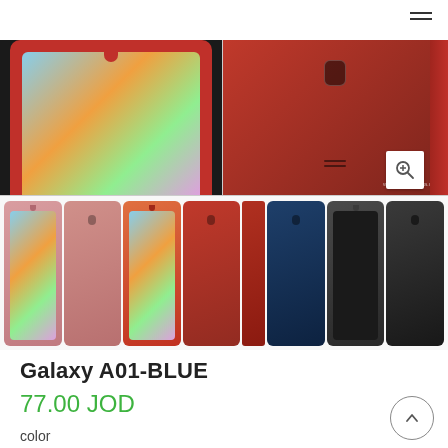[Figure (photo): Samsung Galaxy A01 smartphone shown in multiple colors (pink, red, blue, black) from front and back angles. Top half shows close-up of red model front and back. Bottom half shows 8 thumbnail views of phone in pink, red, blue, and black colors.]
Galaxy A01-BLUE
77.00 JOD
color